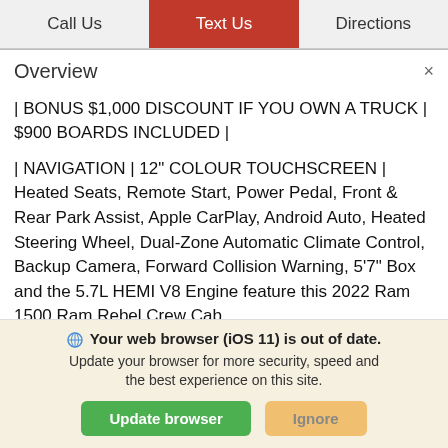Call Us | Text Us | Directions
Overview  ×
| BONUS $1,000 DISCOUNT IF YOU OWN A TRUCK | $900 BOARDS INCLUDED |
| NAVIGATION | 12" COLOUR TOUCHSCREEN | Heated Seats, Remote Start, Power Pedal, Front & Rear Park Assist, Apple CarPlay, Android Auto, Heated Steering Wheel, Dual-Zone Automatic Climate Control, Backup Camera, Forward Collision Warning, 5'7" Box and the 5.7L HEMI V8 Engine feature this 2022 Ram 1500 Ram Rebel Crew Cab
Your web browser (iOS 11) is out of date. Update your browser for more security, speed and the best experience on this site.